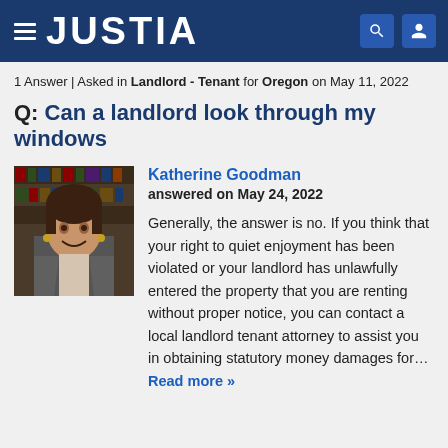JUSTIA
1 Answer | Asked in Landlord - Tenant for Oregon on May 11, 2022
Q: Can a landlord look through my windows
[Figure (photo): Photo of attorney Katherine Goodman, a woman with dark hair smiling, bookshelves in background]
Katherine Goodman
answered on May 24, 2022

Generally, the answer is no. If you think that your right to quiet enjoyment has been violated or your landlord has unlawfully entered the property that you are renting without proper notice, you can contact a local landlord tenant attorney to assist you in obtaining statutory money damages for… Read more »